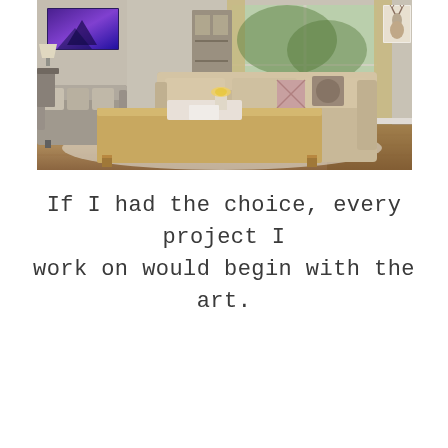[Figure (photo): Interior living room photo showing a modern, neutral-toned space with large sofas, a wooden coffee table, decorative pillows, a large TV/artwork on the wall, floor-to-ceiling windows with curtains, hardwood flooring, and a deer artwork on the right wall. A pendant light hangs from the ceiling.]
If I had the choice, every project I work on would begin with the art.